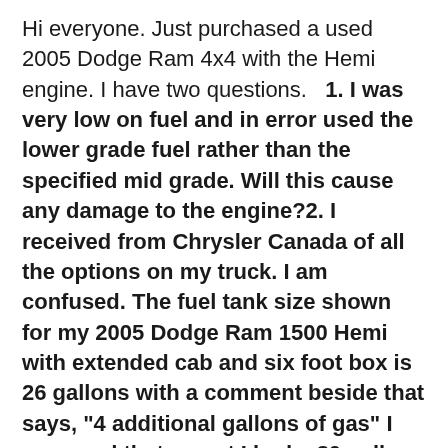Hi everyone. Just purchased a used 2005 Dodge Ram 4x4 with the Hemi engine. I have two questions.   1. I was very low on fuel and in error used the lower grade fuel rather than the specified mid grade. Will this cause any damage to the engine?2. I received from Chrysler Canada of all the options on my truck. I am confused. The fuel tank size shown for my 2005 Dodge Ram 1500 Hemi with extended cab and six foot box is 26 gallons with a comment beside that says, "4 additional gallons of gas" I assumed that meant I had a 30 gallon tank. I just filled up from empty, (the gas light was on) and I could only squeeze 92 litres in. Any ideas? I think my manual says the tank should hold 112 litres.Thanks The sub grade fuel won"t hurt the engine if it"s just one tank.With respects to the tank, you have a 26 gallon tank. I think they leave the 4